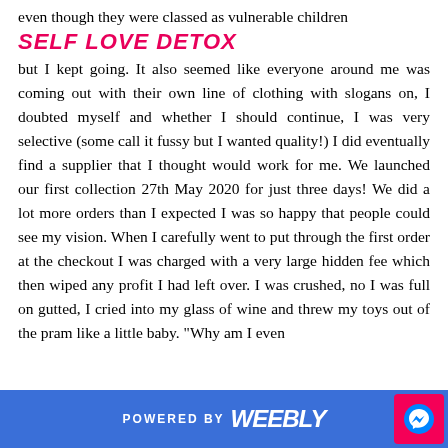even though they were classed as vulnerable children
SELF LOVE DETOX
but I kept going. It also seemed like everyone around me was coming out with their own line of clothing with slogans on, I doubted myself and whether I should continue, I was very selective (some call it fussy but I wanted quality!) I did eventually find a supplier that I thought would work for me. We launched our first collection 27th May 2020 for just three days! We did a lot more orders than I expected I was so happy that people could see my vision. When I carefully went to put through the first order at the checkout I was charged with a very large hidden fee which then wiped any profit I had left over. I was crushed, no I was full on gutted, I cried into my glass of wine and threw my toys out of the pram like a little baby. "Why am I even
POWERED BY weebly